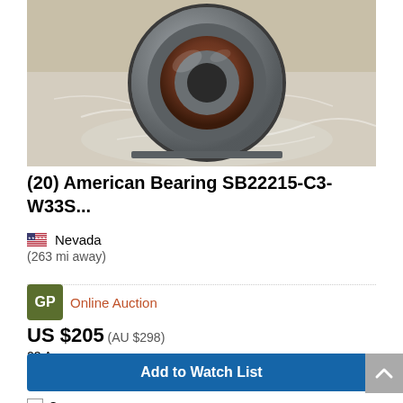[Figure (photo): Close-up photo of an American Bearing SB22215-C3-W33S spherical roller bearing, metallic silver/gray, placed on plastic packaging wrap on a tan/brown surface.]
(20) American Bearing SB22215-C3-W33S...
🇺🇸 Nevada
(263 mi away)
GP  Online Auction
US $205 (AU $298)
23 Aug
Add to Watch List
Compare